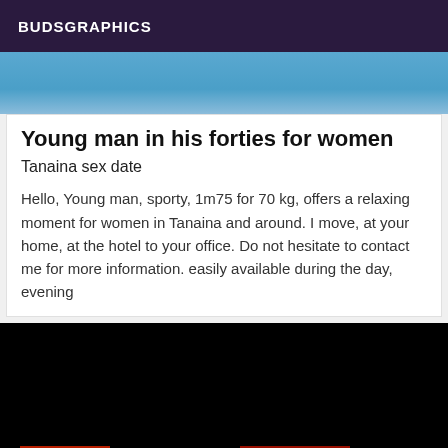BUDSGRAPHICS
[Figure (photo): Top portion of a photo showing a person in a blue outfit, partially cropped]
Young man in his forties for women
Tanaina sex date
Hello, Young man, sporty, 1m75 for 70 kg, offers a relaxing moment for women in Tanaina and around. I move, at your home, at the hotel to your office. Do not hesitate to contact me for more information. easily available during the day, evening
[Figure (photo): Bottom image with mostly black background and a red banner/strip at the bottom with some text or graphic elements]